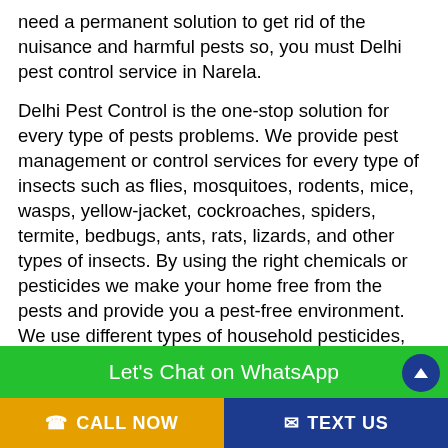need a permanent solution to get rid of the nuisance and harmful pests so, you must Delhi pest control service in Narela.
Delhi Pest Control is the one-stop solution for every type of pests problems. We provide pest management or control services for every type of insects such as flies, mosquitoes, rodents, mice, wasps, yellow-jacket, cockroaches, spiders, termite, bedbugs, ants, rats, lizards, and other types of insects. By using the right chemicals or pesticides we make your home free from the pests and provide you a pest-free environment. We use different types of household pesticides, the chemical designed to kill pests, insecticides for insects, rodenticides for rodents, fungicides for fungi, and much more. You really don't need to worry about the harmful  s and he
[Figure (screenshot): Green WhatsApp chat button bar with text 'Let's Chat on WhatsApp']
[Figure (screenshot): Bottom navigation bar with orange 'CALL NOW' button on the left and dark blue 'TEXT US' button on the right]